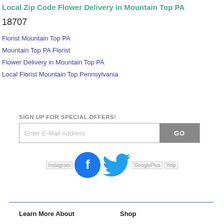Local Zip Code Flower Delivery in Mountain Top PA
18707
Florist Mountain Top PA
Mountain Top PA Florist
Flower Delivery in Mountain Top PA
Local Florist Mountain Top Pennsylvania
SIGN UP FOR SPECIAL OFFERS!
Enter E-Mail Address GO
[Figure (infographic): Social media icons: Instagram placeholder, Facebook logo (blue circle with white f), Twitter bird logo (blue), GooglePlus placeholder, Yelp placeholder]
Learn More About
Shop